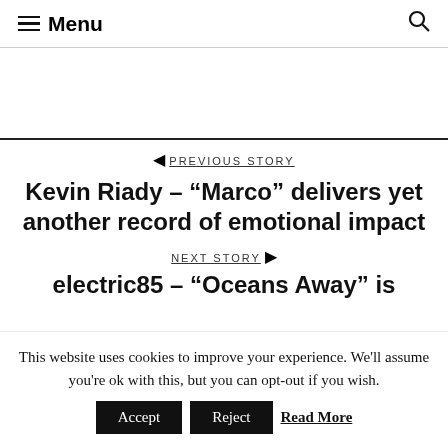Menu
PREVIOUS STORY
Kevin Riady – “Marco” delivers yet another record of emotional impact
NEXT STORY
electric85 – “Oceans Away” is
This website uses cookies to improve your experience. We'll assume you're ok with this, but you can opt-out if you wish. Accept Reject Read More